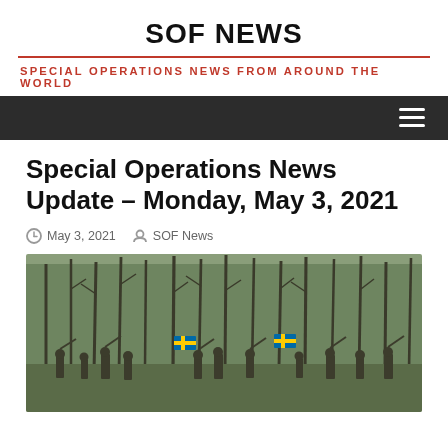SOF NEWS
SPECIAL OPERATIONS NEWS FROM AROUND THE WORLD
Special Operations News Update – Monday, May 3, 2021
May 3, 2021   SOF News
[Figure (photo): Military personnel in a wooded area carrying weapons, with a Swedish flag visible on equipment, during what appears to be a field exercise or operation.]